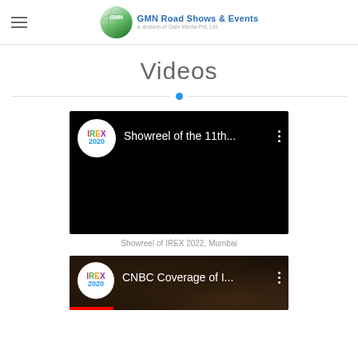GMN Road Shows & Events — a division of Gain Media Pvt. Ltd.
Videos
[Figure (screenshot): YouTube video thumbnail for 'Showreel of the 11th...' with IREX 2020 logo on black background]
Showreel of IREX 2022, Mumbai
[Figure (screenshot): YouTube video thumbnail for 'CNBC Coverage of I...' with IREX 2020 logo and background of audience]